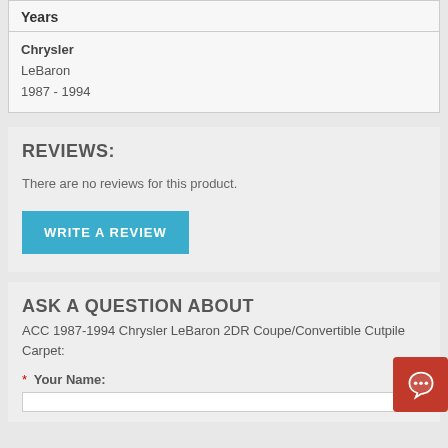| Years |
| --- |
| Chrysler
LeBaron
1987 - 1994 |
REVIEWS:
There are no reviews for this product.
WRITE A REVIEW
ASK A QUESTION ABOUT
ACC 1987-1994 Chrysler LeBaron 2DR Coupe/Convertible Cutpile Carpet:
* Your Name: